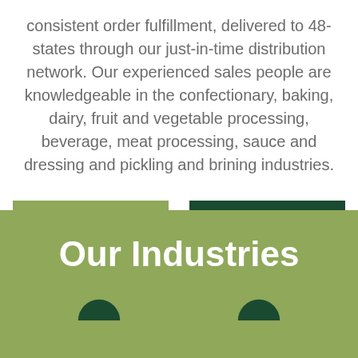consistent order fulfillment, delivered to 48-states through our just-in-time distribution network. Our experienced sales people are knowledgeable in the confectionary, baking, dairy, fruit and vegetable processing, beverage, meat processing, sauce and dressing and pickling and brining industries.
Learn More
Talk to Us
Our Industries
[Figure (illustration): Two partially visible circular icons at the bottom of the green section]